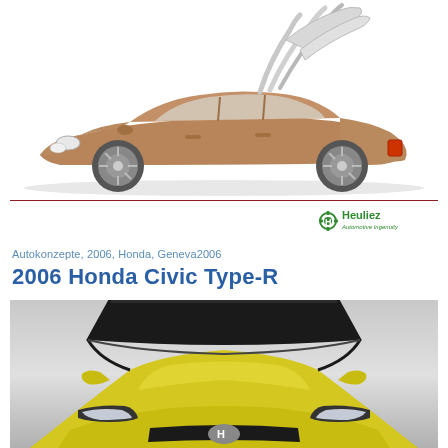[Figure (photo): Side view of a bronze/copper colored Honda concept car with the retractable hardtop roof mechanism open and raised, showing the folding roof panels above the car body. White background.]
[Figure (logo): Heuliez Automotive Ingenuity logo — green gear/wheel icon with 'H' letter, followed by 'Heuliez' in green text and 'Automotive Ingenuity' in smaller green italic text below.]
Autokonzepte, 2006, Honda, Geneva2006
2006 Honda Civic Type-R
[Figure (photo): Front view of a yellow 2006 Honda Civic Type-R on a grey gradient background, showing the front bumper, headlights, hood, and windshield from a slightly elevated angle.]